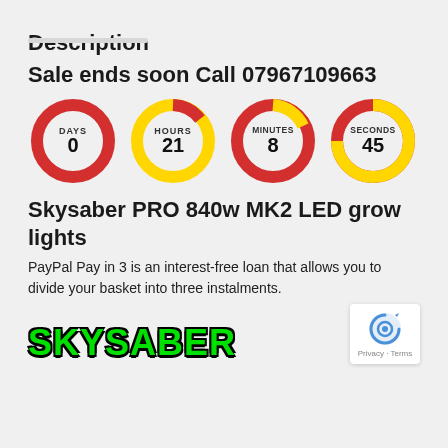Description
Sale ends soon Call 07967109663
[Figure (infographic): Countdown timer with four donut-style circular gauges labeled DAYS (0), HOURS (21), MINUTES (8), SECONDS (45). Each circle has a red outer ring and yellow inner arc indicating remaining time.]
Skysaber PRO 840w MK2 LED grow lights
PayPal Pay in 3 is an interest-free loan that allows you to divide your basket into three instalments.
[Figure (logo): Skysaber logo in green bold uppercase letters with black outline]
[Figure (other): reCAPTCHA badge with Privacy · Terms text]